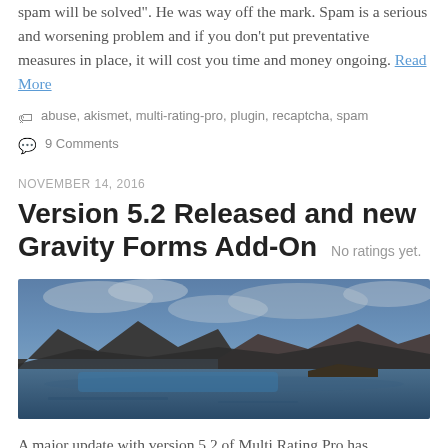spam will be solved". He was way off the mark. Spam is a serious and worsening problem and if you don't put preventative measures in place, it will cost you time and money ongoing. Read More
abuse, akismet, multi-rating-pro, plugin, recaptcha, spam
9 Comments
NOVEMBER 14, 2016
Version 5.2 Released and new Gravity Forms Add-On No ratings yet.
[Figure (photo): A landscape photo showing a mountain lake scene with blue water, dark rocky hills, and a cloudy blue-grey sky]
A major update with version 5.2 of Multi Rating Pro has